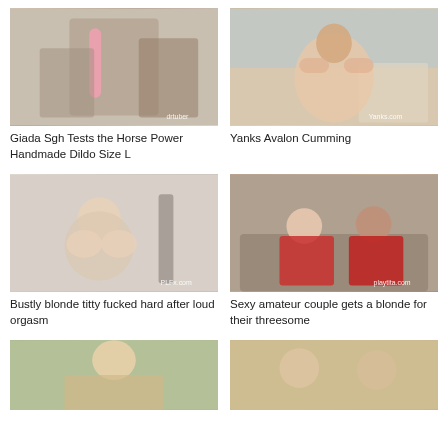[Figure (photo): Video thumbnail showing tattooed person with pink dildo on floor]
Giada Sgh Tests the Horse Power Handmade Dildo Size L
[Figure (photo): Video thumbnail showing redhead woman on bed in hotel room]
Yanks Avalon Cumming
[Figure (photo): Video thumbnail showing blonde woman topless in living room]
Bustly blonde titty fucked hard after loud orgasm
[Figure (photo): Video thumbnail showing couple in red on couch, playtta.com watermark]
Sexy amateur couple gets a blonde for their threesome
[Figure (photo): Video thumbnail showing blonde woman outdoors]
[Figure (photo): Video thumbnail showing two young women smiling indoors]